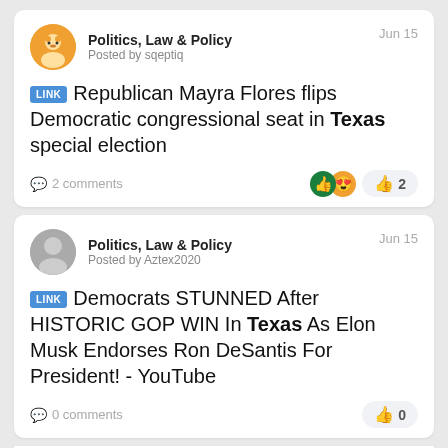Politics, Law & Policy
Posted by sqeptiq
Jun 15
LINK Republican Mayra Flores flips Democratic congressional seat in Texas special election
2 comments · 2 likes
Politics, Law & Policy
Posted by Aztex2020
Jun 15
LINK Democrats STUNNED After HISTORIC GOP WIN In Texas As Elon Musk Endorses Ron DeSantis For President! - YouTube
0 comments · 0 likes